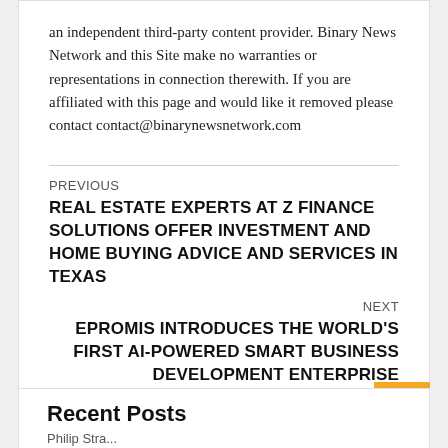an independent third-party content provider. Binary News Network and this Site make no warranties or representations in connection therewith. If you are affiliated with this page and would like it removed please contact contact@binarynewsnetwork.com
PREVIOUS
REAL ESTATE EXPERTS AT Z FINANCE SOLUTIONS OFFER INVESTMENT AND HOME BUYING ADVICE AND SERVICES IN TEXAS
NEXT
EPROMIS INTRODUCES THE WORLD'S FIRST AI-POWERED SMART BUSINESS DEVELOPMENT ENTERPRISE
Recent Posts
Philip Stra...